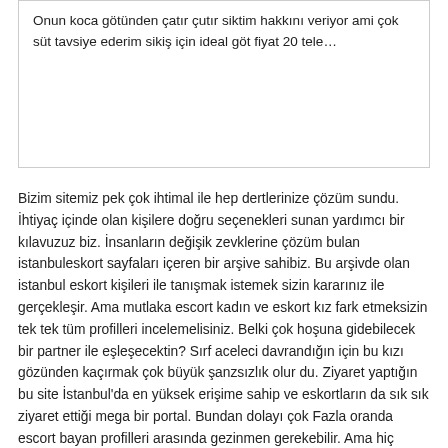Onun koca götünden çatır çutır siktim hakkını veriyor ami çok süt tavsiye ederim sikiş için ideal göt fiyat 20 tele...
Bizim sitemiz pek çok ihtimal ile hep dertlerinize çözüm sundu. İhtiyaç içinde olan kişilere doğru seçenekleri sunan yardımcı bir kılavuzuz biz. İnsanların değişik zevklerine çözüm bulan istanbuleskort sayfaları içeren bir arşive sahibiz. Bu arşivde olan istanbul eskort kişileri ile tanışmak istemek sizin kararınız ile gerçekleşir. Ama mutlaka escort kadın ve eskort kız fark etmeksizin tek tek tüm profilleri incelemelisiniz. Belki çok hoşuna gidebilecek bir partner ile eşleşecektin? Sırf aceleci davrandığın için bu kızı gözünden kaçırmak çok büyük şanzsızlık olur du. Ziyaret yaptığın bu site İstanbul'da en yüksek erişime sahip ve eskortların da sık sık ziyaret ettiği mega bir portal. Bundan dolayı çok Fazla oranda escort bayan profilleri arasında gezinmen gerekebilir. Ama hiç canını sıkma bu çok zevkli bir durum, çünkü seni daha çok azdırıyolar. İster olgun yada çıtır olsun istersen de yabancı, rus, ukraynalı Falan olsun hepsine bakmak çok hoş. Beğendiğin kişileri not al ve gerekirse kalp bırak sonra Favorilerine geri dönerek kolayca bir seçim yaparsın. Sayın ziyaretçimiz, %100 erişim garantisi sunan bu site tamamen ücretsizdir. Bu siteden faydalanmaya devam etmeniz için mobil olarak erişim sunmanızı öneririz. İnternette sitenin adı ile arama yaparak çok basit bir şekilde buraya ulaşabilirsiniz. Bu sayfada yer alan birbirinden güzel escort kişileri içinden